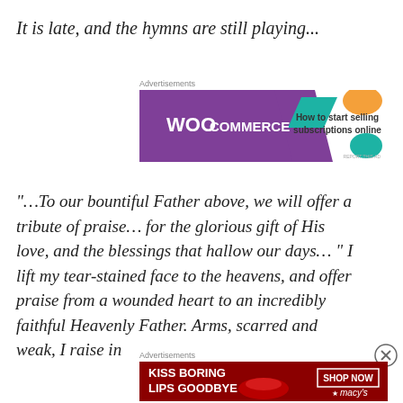It is late, and the hymns are still playing...
Advertisements
[Figure (screenshot): WooCommerce advertisement banner: purple background with WooCommerce logo and text 'How to start selling subscriptions online' with decorative shapes]
“…To our bountiful Father above, we will offer a tribute of praise… for the glorious gift of His love, and the blessings that hallow our days… ”  I lift my tear-stained face to the heavens, and offer praise from a wounded heart to an incredibly faithful Heavenly Father. Arms, scarred and weak, I raise in
Advertisements
[Figure (screenshot): Macy's advertisement banner: dark red/maroon background with text 'KISS BORING LIPS GOODBYE' and 'SHOP NOW' button with Macy's star logo, featuring a woman's face with red lips]